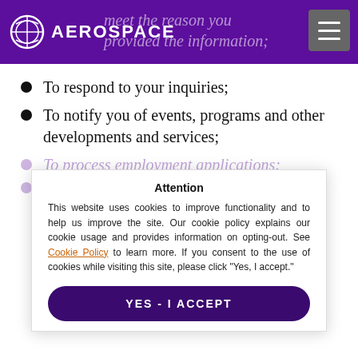AEROSPACE
meet the reason you provided the information;
To respond to your inquiries;
To notify you of events, programs and other developments and services;
To process employment applications;
To evaluate, organize, and improve content is provided to the most
Attention
This website uses cookies to improve functionality and to help us improve the site. Our cookie policy explains our cookie usage and provides information on opting-out. See Cookie Policy to learn more. If you consent to the use of cookies while visiting this site, please click “Yes, I accept.”
YES - I ACCEPT